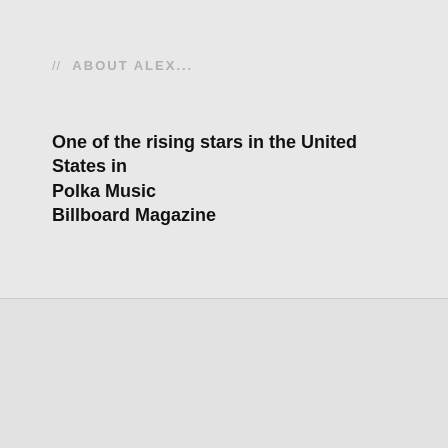// ABOUT ALEX...
One of the rising stars in the United States in Polka Music
Billboard Magazine